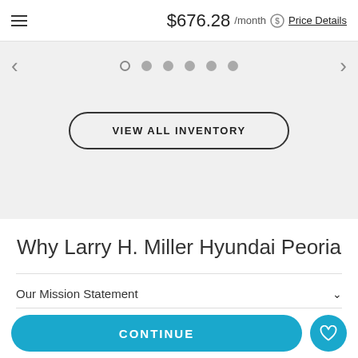$676.28 /month  Price Details
[Figure (screenshot): Carousel navigation with left/right arrows and 6 dots (first dot is open circle, rest are filled grey circles), with a 'VIEW ALL INVENTORY' pill button in a light grey section]
Why Larry H. Miller Hyundai Peoria
Our Mission Statement
Enriching lives
CONTINUE